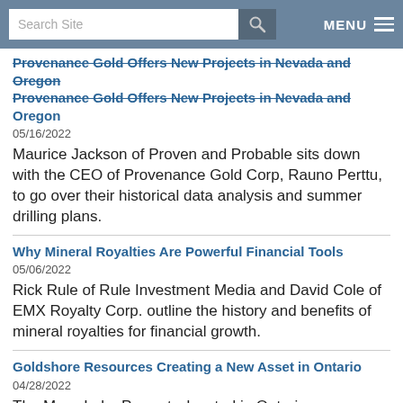Search Site | MENU
Provenance Gold Offers New Projects in Nevada and Oregon
05/16/2022
Maurice Jackson of Proven and Probable sits down with the CEO of Provenance Gold Corp, Rauno Perttu, to go over their historical data analysis and summer drilling plans.
Why Mineral Royalties Are Powerful Financial Tools
05/06/2022
Rick Rule of Rule Investment Media and David Cole of EMX Royalty Corp. outline the history and benefits of mineral royalties for financial growth.
Goldshore Resources Creating a New Asset in Ontario
04/28/2022
The Moss Lake Property, located in Ontario,